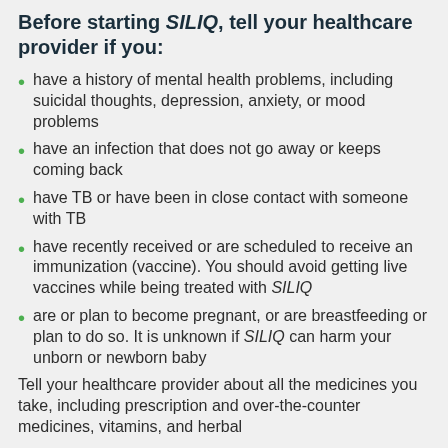Before starting SILIQ, tell your healthcare provider if you:
have a history of mental health problems, including suicidal thoughts, depression, anxiety, or mood problems
have an infection that does not go away or keeps coming back
have TB or have been in close contact with someone with TB
have recently received or are scheduled to receive an immunization (vaccine). You should avoid getting live vaccines while being treated with SILIQ
are or plan to become pregnant, or are breastfeeding or plan to do so. It is unknown if SILIQ can harm your unborn or newborn baby
Tell your healthcare provider about all the medicines you take, including prescription and over-the-counter medicines, vitamins, and herbal supplements.